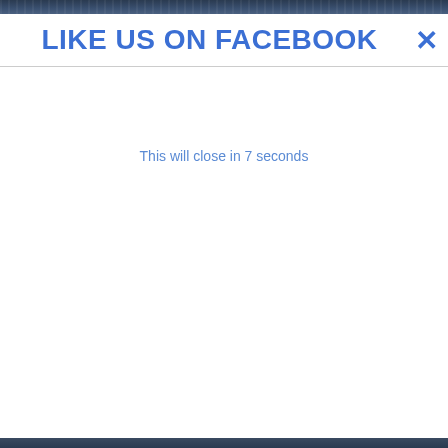[Figure (screenshot): Dark cityscape/night photo banner at top of page]
LIKE US ON FACEBOOK ✕
This will close in 7 seconds
[Figure (screenshot): Dark bar at bottom of page]